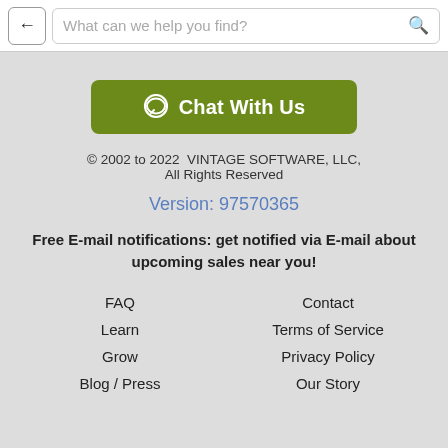What can we help you find?
[Figure (illustration): Green 'Chat With Us' button with speech bubble icon]
© 2002 to 2022  VINTAGE SOFTWARE, LLC, All Rights Reserved
Version: 97570365
Free E-mail notifications: get notified via E-mail about upcoming sales near you!
FAQ
Contact
Learn
Terms of Service
Grow
Privacy Policy
Blog / Press
Our Story